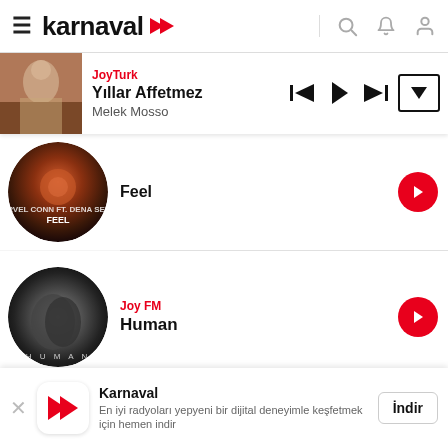[Figure (screenshot): Karnaval music streaming app screenshot showing now-playing bar with Yıllar Affetmez by Melek Mosso on JoyTurk, and a list of radio stations including Feel, Joy FM Human, and JoyTurk]
karnaval
JoyTurk — Yıllar Affetmez — Melek Mosso
Feel
Joy FM
Human
JoyTurk
En iyi Bildiğim Şey
Karnaval
En iyi radyoları yepyeni bir dijital deneyimle keşfetmek için hemen indir
İndir